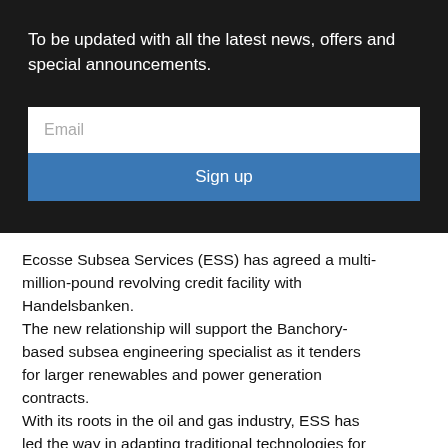To be updated with all the latest news, offers and special announcements.
[Figure (screenshot): Email input field with placeholder text 'Email' and a blue 'Sign up' button below it, on a dark background]
Ecosse Subsea Services (ESS) has agreed a multi-million-pound revolving credit facility with Handelsbanken. The new relationship will support the Banchory-based subsea engineering specialist as it tenders for larger renewables and power generation contracts. With its roots in the oil and gas industry, ESS has led the way in adapting traditional technologies for use in the renewables and interconnector sectors and has designed and patented a range of tools which are used in seabed clearance, route preparation, trenching, backfill, pipela...